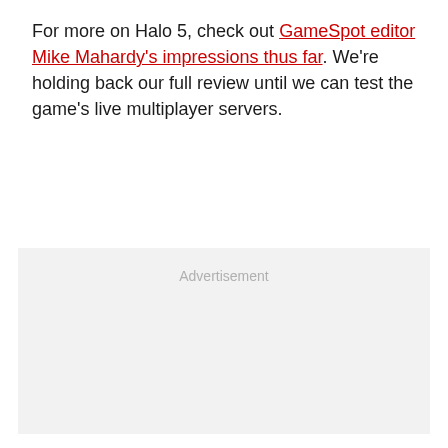For more on Halo 5, check out GameSpot editor Mike Mahardy's impressions thus far. We're holding back our full review until we can test the game's live multiplayer servers.
Advertisement